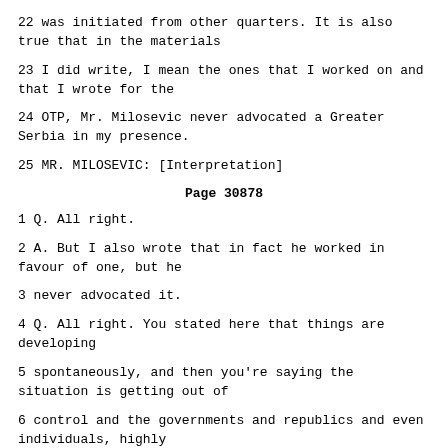22 was initiated from other quarters. It is also true that in the materials
23 I did write, I mean the ones that I worked on and that I wrote for the
24 OTP, Mr. Milosevic never advocated a Greater Serbia in my presence.
25 MR. MILOSEVIC: [Interpretation]
Page 30878
1 Q. All right.
2 A. But I also wrote that in fact he worked in favour of one, but he
3 never advocated it.
4 Q. All right. You stated here that things are developing
5 spontaneously, and then you're saying the situation is getting out of
6 control and the governments and republics and even individuals, highly
7 authoritative individuals, can no longer control various events and so on